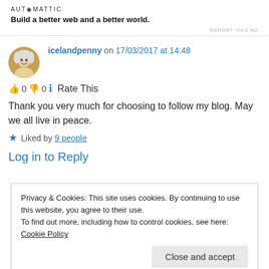[Figure (logo): Automattic logo with tagline 'Build a better web and a better world.']
REPORT THIS AD
icelandpenny on 17/03/2017 at 14:48
👍 0 👎 0 ℹ Rate This
Thank you very much for choosing to follow my blog. May we all live in peace.
★ Liked by 9 people
Log in to Reply
Privacy & Cookies: This site uses cookies. By continuing to use this website, you agree to their use.
To find out more, including how to control cookies, see here: Cookie Policy
Close and accept
Thank you too, dear friend – for also